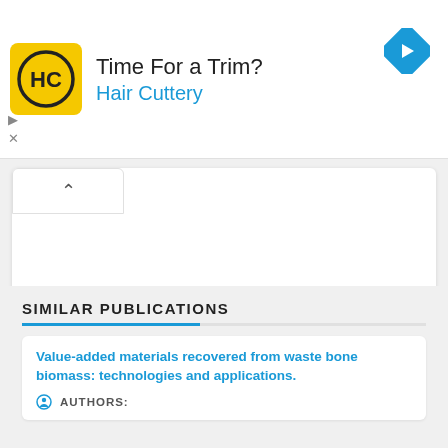[Figure (other): Advertisement banner for Hair Cuttery. Yellow square logo with HC initials, headline 'Time For a Trim?', subheadline 'Hair Cuttery' in blue. Blue diamond navigation icon on the right. Ad controls (play/close) at bottom left.]
[Figure (other): Collapsed white card panel with a toggle button showing an upward caret (^) in the top-left corner.]
SIMILAR PUBLICATIONS
Value-added materials recovered from waste bone biomass: technologies and applications.
AUTHORS: